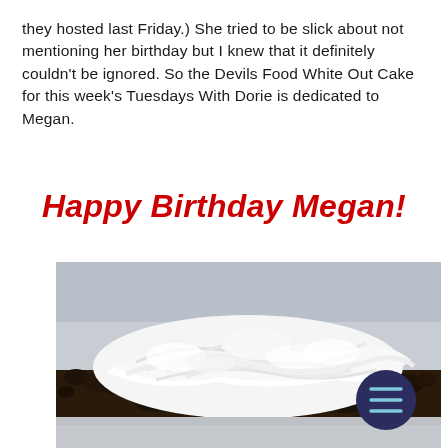they hosted last Friday.) She tried to be slick about not mentioning her birthday but I knew that it definitely couldn't be ignored. So the Devils Food White Out Cake for this week's Tuesdays With Dorie is dedicated to Megan.
Happy Birthday Megan!
[Figure (photo): Close-up photo of a Devils Food White Out Cake with thick white swirled frosting on top and chocolate cake crumbs visible on the sides. A dark navy circular menu button with three horizontal teal/light blue lines is overlaid in the bottom right corner of the image. A light reflection or table surface is visible at the bottom edge.]